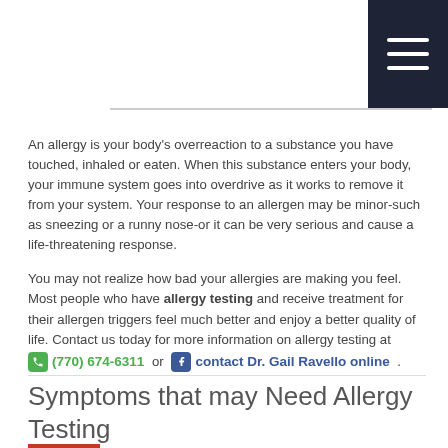[Figure (other): Dark navy blue navigation bar in top-right corner with three horizontal white lines (hamburger menu icon)]
An allergy is your body's overreaction to a substance you have touched, inhaled or eaten. When this substance enters your body, your immune system goes into overdrive as it works to remove it from your system. Your response to an allergen may be minor-such as sneezing or a runny nose-or it can be very serious and cause a life-threatening response.
You may not realize how bad your allergies are making you feel. Most people who have allergy testing and receive treatment for their allergen triggers feel much better and enjoy a better quality of life. Contact us today for more information on allergy testing at (770) 674-6311 or contact Dr. Gail Ravello online .
Symptoms that may Need Allergy Testing